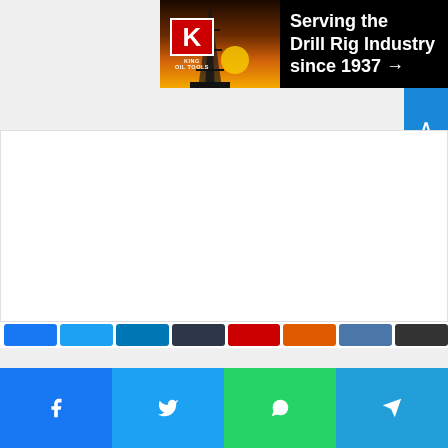[Figure (illustration): King Oil Tools advertisement banner: dark background with oil derrick silhouette at sunset on left, King logo (red K) in center-left, white text reading 'Serving the Drill Rig Industry since 1937 →' on right. Ad close button (▷ ✕) in top right corner.]
[Figure (screenshot): Collapse/minimize tab button with upward caret arrow (^) on white background below the advertisement banner.]
[Figure (screenshot): Social share buttons partial row near bottom of page content area: colored share buttons visible.]
[Figure (screenshot): Bottom social share bar with four buttons: Facebook (blue), Twitter (light blue), WhatsApp (green), Telegram (blue), each with icon and label.]